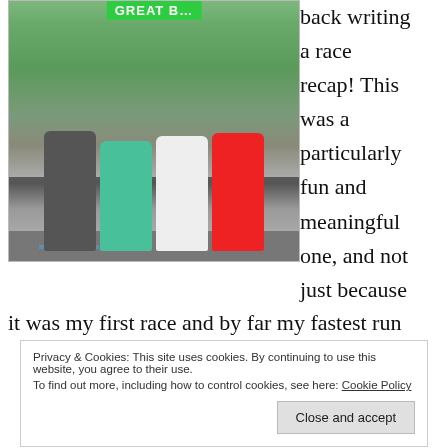[Figure (photo): Photo of four runners posing at a race finish line under a green 'GREAT ...' banner, with trees and road in the background.]
back writing a race recap! This was a particularly fun and meaningful one, and not just because it was my first race and by far my fastest run
Privacy & Cookies: This site uses cookies. By continuing to use this website, you agree to their use.
To find out more, including how to control cookies, see here: Cookie Policy
Close and accept